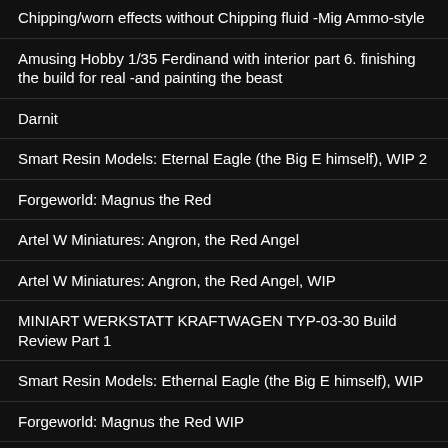Chipping/worn effects without Chipping fluid -Mig Ammo-style
Amusing Hobby 1/35 Ferdinand with interior part 6. finishing the build for real -and painting the beast
Darnit
Smart Resin Models: Eternal Eagle (the Big E himself), WIP 2
Forgeworld: Magnus the Red
Artel W Miniatures: Angron, the Red Angel
Artel W Miniatures: Angron, the Red Angel, WIP
MINIART WERKSTATT KRAFTWAGEN TYP-03-30 Build Review Part 1
Smart Resin Models: Ethernal Eagle (the Big E himself), WIP
Forgeworld: Magnus the Red WIP
Technical Difficulties
Amusing Hobby 1/35 Ferdinand with interior part 5.1 Finishing the